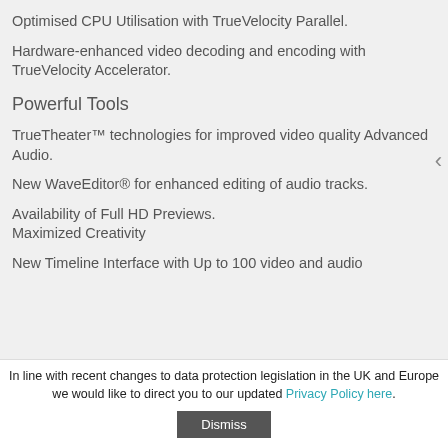Optimised CPU Utilisation with TrueVelocity Parallel.
Hardware-enhanced video decoding and encoding with TrueVelocity Accelerator.
Powerful Tools
TrueTheater™ technologies for improved video quality Advanced Audio.
New WaveEditor® for enhanced editing of audio tracks.
Availability of Full HD Previews.
Maximized Creativity
New Timeline Interface with Up to 100 video and audio
In line with recent changes to data protection legislation in the UK and Europe we would like to direct you to our updated Privacy Policy here.